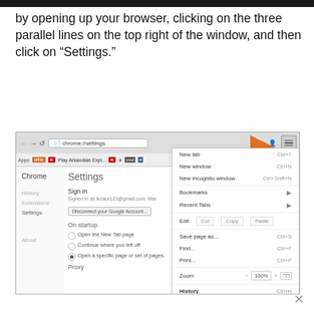by opening up your browser, clicking on the three parallel lines on the top right of the window, and then click on “Settings.”
[Figure (screenshot): Screenshot of Google Chrome browser showing the Settings page with the three-line menu open, highlighting menu options: New tab, New window, New incognito window, Bookmarks, Recent Tabs, Edit/Cut/Copy/Paste, Save page as, Find, Print, Zoom, History, Downloads, Settings. Orange arrows point to the menu icon and to 'Settings'.]